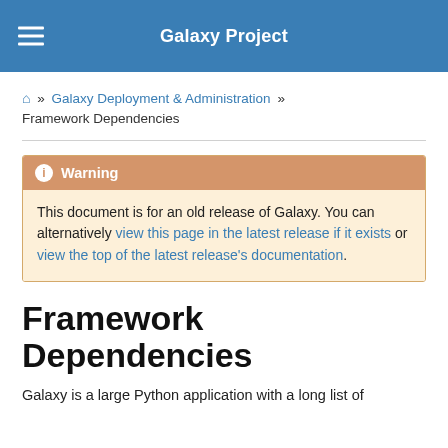Galaxy Project
🏠 » Galaxy Deployment & Administration » Framework Dependencies
Warning
This document is for an old release of Galaxy. You can alternatively view this page in the latest release if it exists or view the top of the latest release's documentation.
Framework Dependencies
Galaxy is a large Python application with a long list of